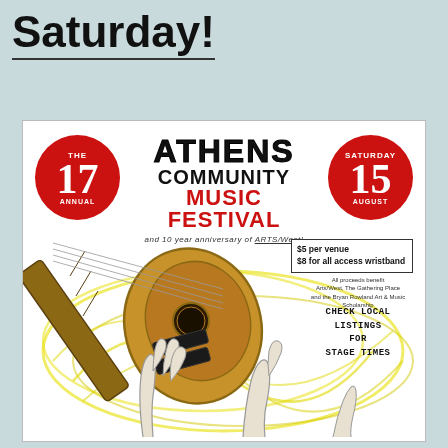Saturday!
[Figure (illustration): Poster for the 17th Annual Athens Community Music Festival, Saturday August 15. Features a large illustrated guitar with hands reaching up. Red circles with '17 Annual' and 'Saturday 15 August'. Text: $5 per venue, $8 for all access wristband. Check local listings for stage times.]